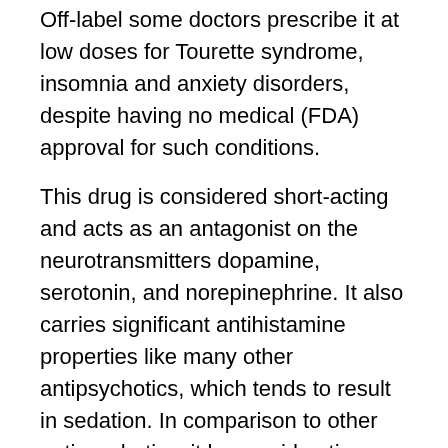Off-label some doctors prescribe it at low doses for Tourette syndrome, insomnia and anxiety disorders, despite having no medical (FDA) approval for such conditions.
This drug is considered short-acting and acts as an antagonist on the neurotransmitters dopamine, serotonin, and norepinephrine. It also carries significant antihistamine properties like many other antipsychotics, which tends to result in sedation. In comparison to other antipsychotics, it has rapid-action on the D2 dopamine receptor, which in theory should minimize the likelihood of dangerous side effects and significant increases in prolactin.
When used to treat a disease like schizophrenia, it can be more effective than other antipsychotics, but has...